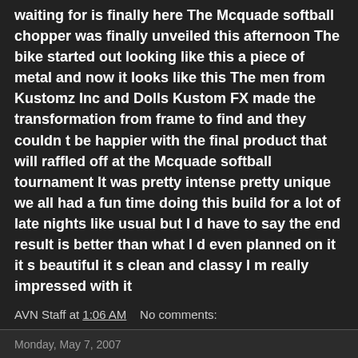waiting for is finally here The Mcquade softball chopper was finally unveiled this afternoon The bike started out looking like this a piece of metal and now it looks like this The men from Kustomz Inc and Dolls Kustom FX made the transformation from frame to find and they couldn t be happier with the final product that will raffled off at the Mcquade softball tournament It was pretty intense pretty unique we all had a fun time doing this build for a lot of late nights like usual but I d have to say the end result is better than what I d even planned on it it s beautiful it s clean and classy I m really impressed with it
AVN Staff at 1:06 AM    No comments:
Monday, May 7, 2007
How Young is Too Young to Race Motorcycles?